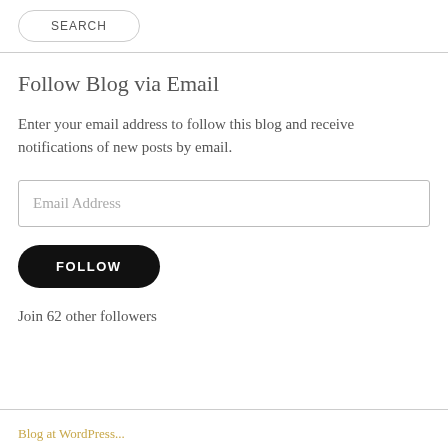[Figure (other): SEARCH button with rounded rectangle border]
Follow Blog via Email
Enter your email address to follow this blog and receive notifications of new posts by email.
[Figure (other): Email Address input field]
[Figure (other): FOLLOW button, black rounded rectangle]
Join 62 other followers
Blog at WordPress...